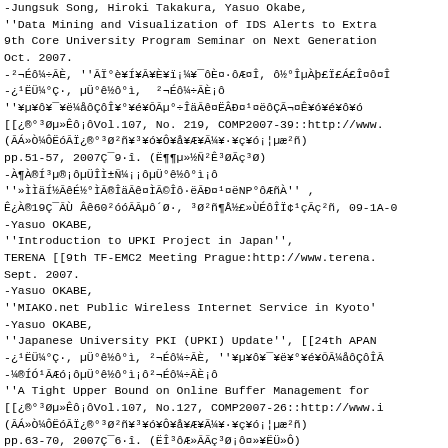-Jungsuk Song, Hiroki Takakura, Yasuo Okabe,
''Data Mining and Visualization of IDS Alerts to Extra
9th Core University Program Seminar on Next Generation
Oct. 2007.
-²¬Éô¾÷ĀÈ, ''ĀÏ°è¥Í¥Ā¥È¥ï¡¼¥¯ôÈ¤·ôÆ¤Î̧ ô½°ÎµÀþ£Ï£Á£Î¤ô¤Î
-¿¹ËÜ¾°Ç·, µÜ°ê½ô°ì, ²¬Éô¾÷ĀÈ¡ô
''¥µ¥ô¥¯¥ë¾åôÇôÎ¥°¥é¥ŌĀµ°÷ÎäĀê¤ËÂÐ¤¹¤ëôÇÃ¬¤Ê¥ó¥é¥ô¥ó
[[¿®°³Øµ»Êô¡ôVol.107, No. 219, COMP2007-39::http://www.
(ĀÁ»Ò¾ÔËóĀÏ¿®°³Ø²ñ¥³¥ó¥Ô¥å¥Æ¥Ã¾¥·¥ç¥ó¡¦µæ²ñ)
pp.51-57, 2007Ç¯9·î. (Ë¶¶µ»½Ñ²Ê³ØÃç³Ø)
-À¶À®Í³µ®¡ôµÜÎÌ±Ñ¼¡¡ôµÜ°ê½ô°ì¡ô
''»ÌÌäÍ½ĀêÉ½°ÌĀ®ÎäĀê¤ÌĀ©Îô·ëĀÐ¤¹¤ëNP°ôÆñÀ'' ,
Ê¿À®19Ç¯ĀÙ Âê60²óóĀĀµô´Ø·, ³Ø²ñ¶Å½£»ÙÉôÎÏ¢¹çĀç²ñ, 09-1A-0
-Yasuo OKABE,
''Introduction to UPKI Project in Japan'',
TERENA [[9th TF-EMC2 Meeting Prague:http://www.terena.
Sept. 2007.
-Yasuo OKABE,
''MIAKO.net Public Wireless Internet Service in Kyoto'
-Yasuo OKABE,
''Japanese University PKI (UPKI) Update'', [[24th APAN
-¿¹ËÜ¾°Ç·, µÜ°ê½ô°ì, ²¬Éô¾÷ĀÈ, ''¥µ¥ô¥¯¥ë¥°¥é¥ŌĀ¾åôÇôÎĀ
-¾®ÍÓ¹ĀÆó¡ôµÜ°ê½ô°ì¡ô²¬Éô¾÷ĀÈ¡ô
''A Tight Upper Bound on Online Buffer Management for
[[¿®°³Øµ»Êô¡ôVol.107, No.127, COMP2007-26::http://www.i
(ĀÁ»Ò¾ÔËóĀÏ¿®°³Ø²ñ¥³¥ó¥Ô¥å¥Æ¥Ã¾¥·¥ç¥ó¡¦µæ²ñ)
pp.63-70, 2007Ç¯6·î. (ËÎ³ôÆ»ĀÃç³Ø¡ô¤»¥ËÜ»Ô)
-´Ý»³¿¡¦¾®ĀÍ¿¿·¼¡¦²¬Éô¾÷ĀÈ,
''SCTPôÈ¤ôôÆô±¤Ë¥¢¥É¥ìÂ°¥ó¥ê¡¼¤ôōĀêµÂĀÃÇôôëIP¥¢¥É¥ì
[[¿®°³Øµ»Êô, vol. 107, no. 74, IA2007-1, pp. 1-3:http://